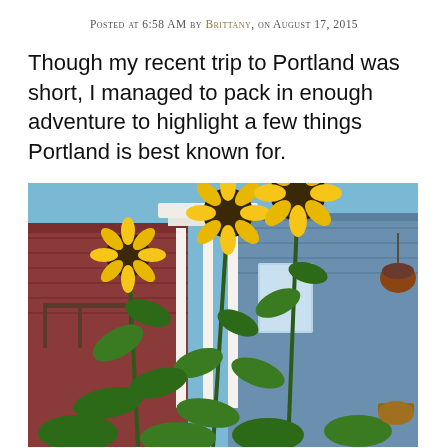Posted at 6:58 AM by Brittany, on August 17, 2015
Though my recent trip to Portland was short, I managed to pack in enough adventure to highlight a few things Portland is best known for.
[Figure (photo): Tall sunflower plants with bright yellow blooms growing in front of colorful Victorian-style houses (red/maroon and blue) on a sunny day in Portland.]